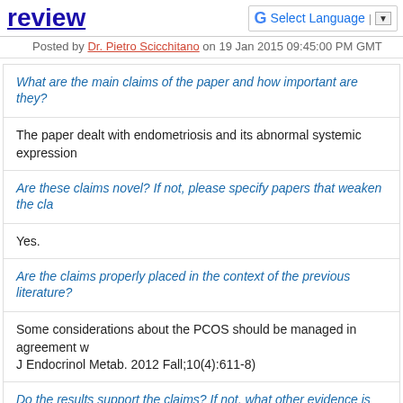review
Posted by Dr. Pietro Scicchitano on 19 Jan 2015 09:45:00 PM GMT
What are the main claims of the paper and how important are they?
The paper dealt with endometriosis and its abnormal systemic expression
Are these claims novel? If not, please specify papers that weaken the cla
Yes.
Are the claims properly placed in the context of the previous literature?
Some considerations about the PCOS should be managed in agreement with J Endocrinol Metab. 2012 Fall;10(4):611-8)
Do the results support the claims? If not, what other evidence is required?
Yes.
If a protocol is provided, for example for a randomized controlled trial, are why the deviations occurred?
Not appliable